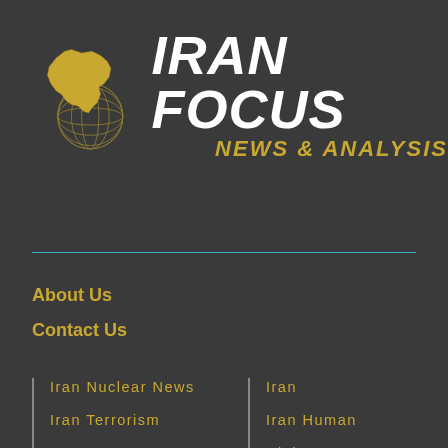[Figure (logo): Iran Focus logo with golden map of Iran, globe graphic, and text IRAN FOCUS NEWS & ANALYSIS]
About Us
Contact Us
Iran Nuclear News
Iran Terrorism
Iran Economy News
Iran
Iran Human
Rights